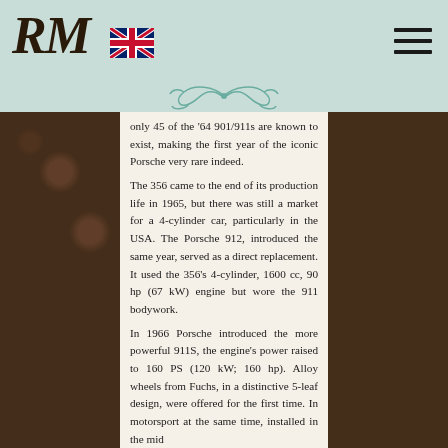[Figure (logo): RM logo in bold italic serif font, dark brown]
[Figure (illustration): UK flag (Union Jack) icon]
[Figure (illustration): Hamburger menu icon (three horizontal lines)]
[Figure (illustration): Teal ornamental scroll/flourish design]
only 45 of the '64 901/911s are known to exist, making the first year of the iconic Porsche very rare indeed.
The 356 came to the end of its production life in 1965, but there was still a market for a 4-cylinder car, particularly in the USA. The Porsche 912, introduced the same year, served as a direct replacement. It used the 356's 4-cylinder, 1600 cc, 90 hp (67 kW) engine but wore the 911 bodywork.
In 1966 Porsche introduced the more powerful 911S, the engine's power raised to 160 PS (120 kW; 160 hp). Alloy wheels from Fuchs, in a distinctive 5-leaf design, were offered for the first time. In motorsport at the same time, installed in the mid